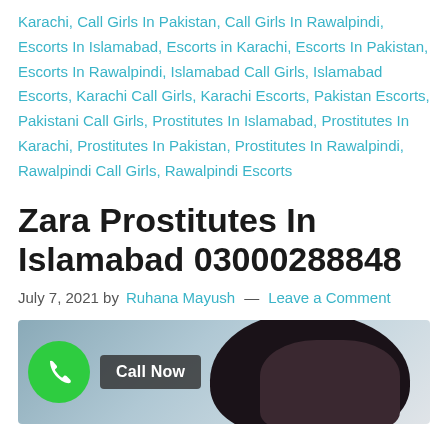Karachi, Call Girls In Pakistan, Call Girls In Rawalpindi, Escorts In Islamabad, Escorts in Karachi, Escorts In Pakistan, Escorts In Rawalpindi, Islamabad Call Girls, Islamabad Escorts, Karachi Call Girls, Karachi Escorts, Pakistan Escorts, Pakistani Call Girls, Prostitutes In Islamabad, Prostitutes In Karachi, Prostitutes In Pakistan, Prostitutes In Rawalpindi, Rawalpindi Call Girls, Rawalpindi Escorts
Zara Prostitutes In Islamabad 03000288848
July 7, 2021 by Ruhana Mayush — Leave a Comment
[Figure (photo): Photo of a woman with dark hair with a green phone call button overlay and a 'Call Now' badge]